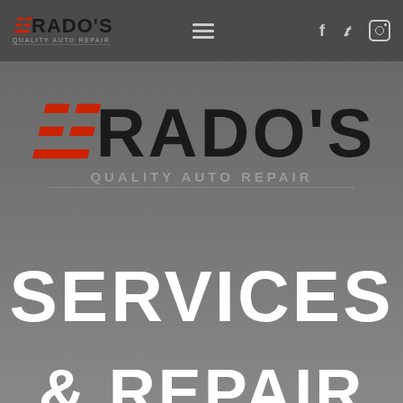[Figure (logo): Prado's Quality Auto Repair logo in navigation bar - small version with red and black text]
[Figure (logo): Prado's Quality Auto Repair large center logo with red and black lettering and 'Quality Auto Repair' subtitle]
SERVICES
& REPAIR